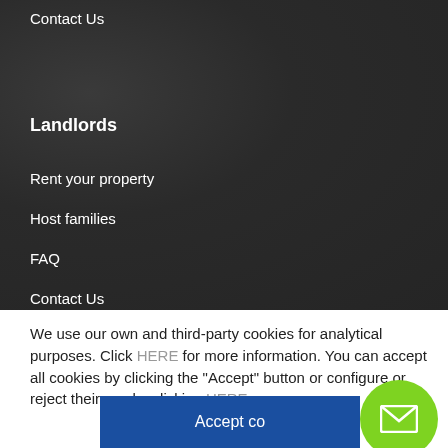Contact Us
Landlords
Rent your property
Host families
FAQ
Contact Us
We use our own and third-party cookies for analytical purposes. Click HERE for more information. You can accept all cookies by clicking the "Accept" button or configure or reject their use by clicking HERE.